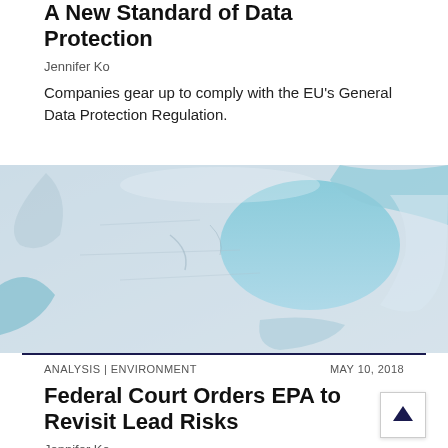A New Standard of Data Protection
Jennifer Ko
Companies gear up to comply with the EU's General Data Protection Regulation.
[Figure (photo): Close-up photo of peeling light blue paint on a wall or surface, showing layers beneath.]
ANALYSIS | ENVIRONMENT    MAY 10, 2018
Federal Court Orders EPA to Revisit Lead Risks
Jennifer Ko